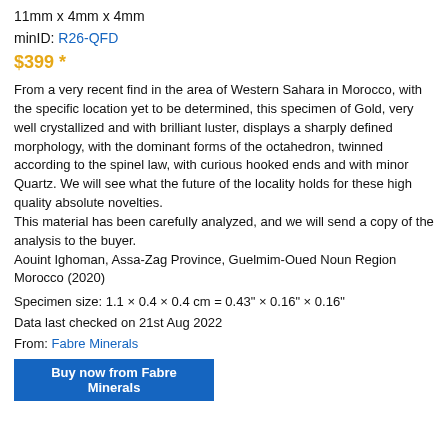11mm x 4mm x 4mm
minID: R26-QFD
$399 *
From a very recent find in the area of Western Sahara in Morocco, with the specific location yet to be determined, this specimen of Gold, very well crystallized and with brilliant luster, displays a sharply defined morphology, with the dominant forms of the octahedron, twinned according to the spinel law, with curious hooked ends and with minor Quartz. We will see what the future of the locality holds for these high quality absolute novelties.
This material has been carefully analyzed, and we will send a copy of the analysis to the buyer.
Aouint Ighoman, Assa-Zag Province, Guelmim-Oued Noun Region  Morocco (2020)
Specimen size: 1.1 × 0.4 × 0.4 cm = 0.43" × 0.16" × 0.16"
Data last checked on 21st Aug 2022
From: Fabre Minerals
Buy now from Fabre Minerals